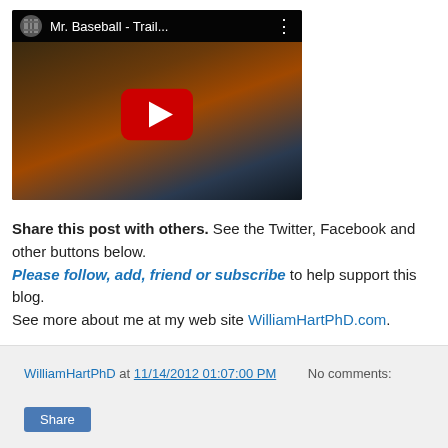[Figure (screenshot): YouTube video thumbnail showing a woman with long dark hair wearing an orange jacket, with the YouTube play button overlay. Video title reads 'Mr. Baseball - Trail...' in the top bar.]
Share this post with others. See the Twitter, Facebook and other buttons below.
Please follow, add, friend or subscribe to help support this blog.
See more about me at my web site WilliamHartPhD.com.
WilliamHartPhD at 11/14/2012 01:07:00 PM   No comments:
Share